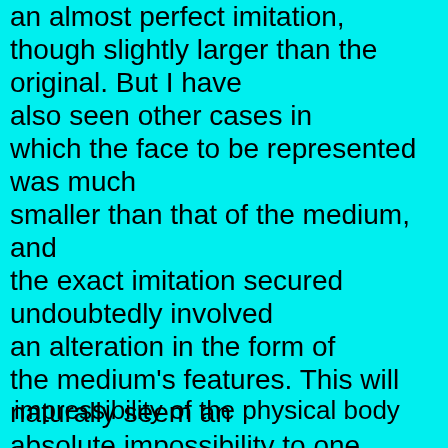an almost perfect imitation, though slightly larger than the original. But I have also seen other cases in which the face to be represented was much smaller than that of the medium, and the exact imitation secured undoubtedly involved an alteration in the form of the medium's features. This will naturally seem an absolute impossibility to one who has not made a special study of these things, for the majority of us little recognize the extreme fluidity and impermanence of the physical body, and have no conception how readily it may be modified under certain conditions.
impressibility of the physical body